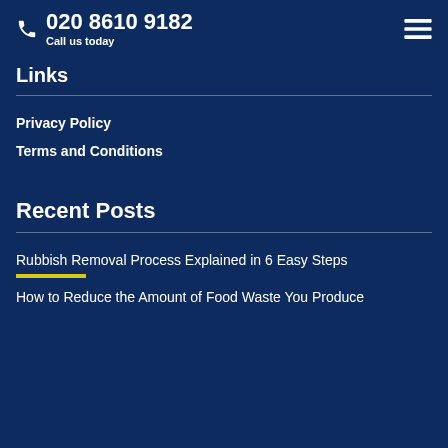020 8610 9182 — Call us today
Links
Privacy Policy
Terms and Conditions
Recent Posts
Rubbish Removal Process Explained in 6 Easy Steps
How to Reduce the Amount of Food Waste You Produce